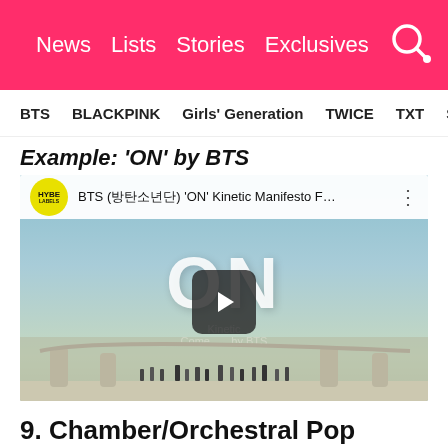Koreaboo | News | Lists | Stories | Exclusives
BTS | BLACKPINK | Girls' Generation | TWICE | TXT | SEVE
Example: 'ON' by BTS
[Figure (screenshot): YouTube video thumbnail for BTS (방탄소년단) 'ON' Kinetic Manifesto F... showing HYBE LABELS logo, video title, and a marching band/group scene with white ON text overlay and play button]
9. Chamber/Orchestral Pop